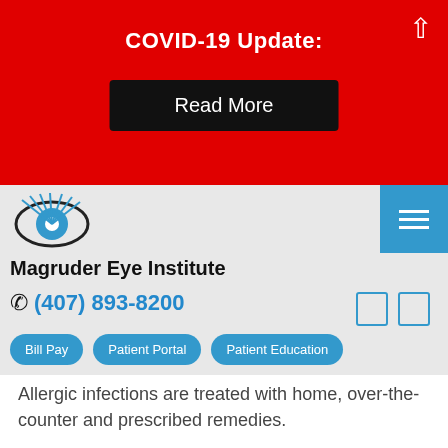COVID-19 Update:
Read More
[Figure (logo): Magruder Eye Institute eye logo — stylized eye outline with blue iris and radiating eyelash lines in blue and black]
Magruder Eye Institute
(407) 893-8200
Bill Pay   Patient Portal   Patient Education
Allergic infections are treated with home, over-the-counter and prescribed remedies.
Symptoms
Various symptoms are associated with different types of eye infections. However, most